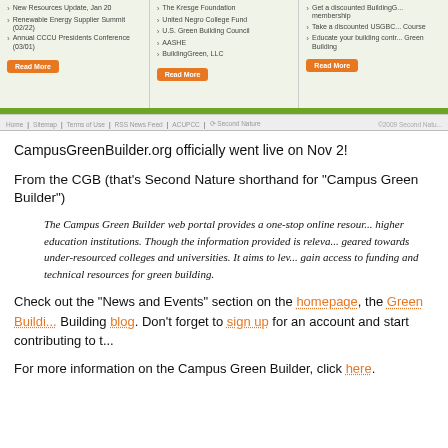[Figure (screenshot): Screenshot of CampusGreenBuilder.org website showing three columns of news/links items with orange Read More buttons, a green bar, and a footer navigation bar with links: Home, Sitemap, Terms of Use, RSS News Feed, ACUPCC, Second Nature, and copyright 2009 Second Nature]
CampusGreenBuilder.org officially went live on Nov 2!
From the CGB (that's Second Nature shorthand for "Campus Green Builder")
The Campus Green Builder web portal provides a one-stop online resour... higher education institutions. Though the information provided is releva... geared towards under-resourced colleges and universities. It aims to lev... gain access to funding and technical resources for green building.
Check out the "News and Events" section on the homepage, the Green Buildi... Building blog. Don't forget to sign up for an account and start contributing to t...
For more information on the Campus Green Builder, click here.